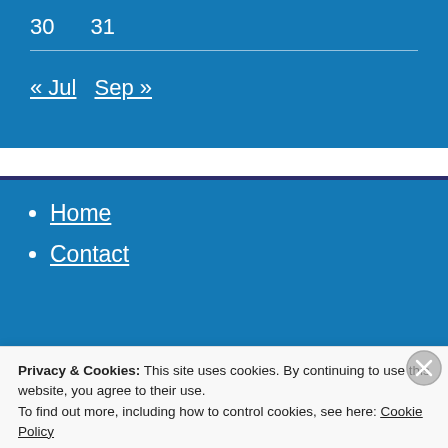30   31
« Jul
Sep »
Home
Contact
Privacy & Cookies: This site uses cookies. By continuing to use this website, you agree to their use.
To find out more, including how to control cookies, see here: Cookie Policy
Close and accept